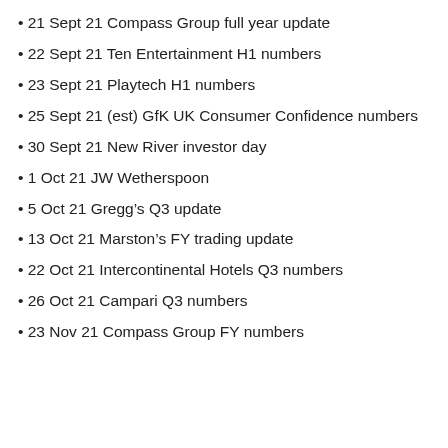21 Sept 21 Compass Group full year update
22 Sept 21 Ten Entertainment H1 numbers
23 Sept 21 Playtech H1 numbers
25 Sept 21 (est) GfK UK Consumer Confidence numbers
30 Sept 21 New River investor day
1 Oct 21 JW Wetherspoon
5 Oct 21 Gregg's Q3 update
13 Oct 21 Marston's FY trading update
22 Oct 21 Intercontinental Hotels Q3 numbers
26 Oct 21 Campari Q3 numbers
23 Nov 21 Compass Group FY numbers